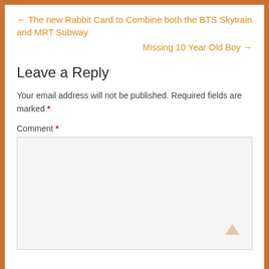← The new Rabbit Card to Combine both the BTS Skytrain and MRT Subway
Missing 10 Year Old Boy →
Leave a Reply
Your email address will not be published. Required fields are marked *
Comment *